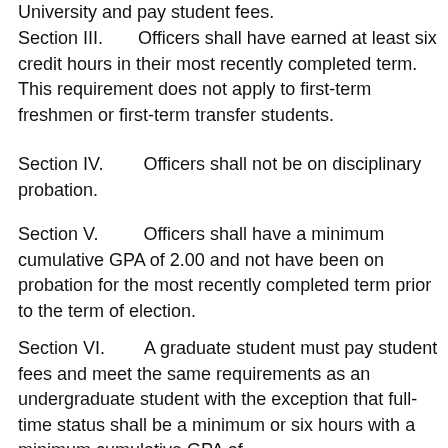University and pay student fees.
Section III.      Officers shall have earned at least six credit hours in their most recently completed term.  This requirement does not apply to first-term freshmen or first-term transfer students.
Section IV.       Officers shall not be on disciplinary probation.
Section V.        Officers shall have a minimum cumulative GPA of 2.00 and not have been on probation for the most recently completed term prior to the term of election.
Section VI.       A graduate student must pay student fees and meet the same requirements as an undergraduate student with the exception that full-time status shall be a minimum or six hours with a minimum cumulative GPA of